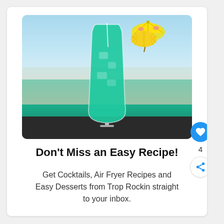[Figure (photo): A tall hurricane glass filled with blue-green tropical cocktail, garnished with a lemon slice and a yellow cocktail umbrella, set against a blurred beach and ocean background.]
Don't Miss an Easy Recipe!
Get Cocktails, Air Fryer Recipes and Easy Desserts from Trop Rockin straight to your inbox.